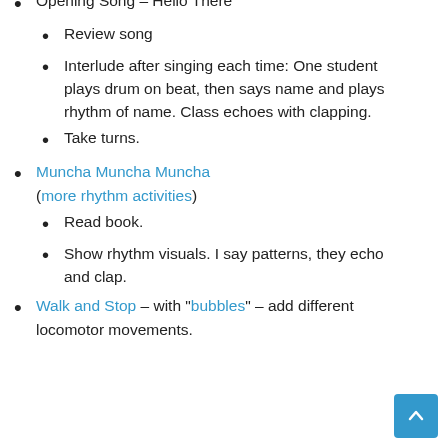Opening Song – Hello There
Review song
Interlude after singing each time: One student plays drum on beat, then says name and plays rhythm of name. Class echoes with clapping.
Take turns.
Muncha Muncha Muncha (more rhythm activities)
Read book.
Show rhythm visuals. I say patterns, they echo and clap.
Walk and Stop – with "bubbles" – add different locomotor movements.